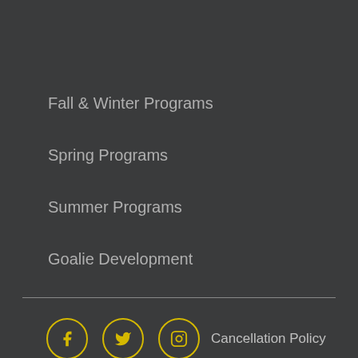Fall & Winter Programs
Spring Programs
Summer Programs
Goalie Development
Cancellation Policy | Terms & Conditions | Website Design By Ullaco Corp